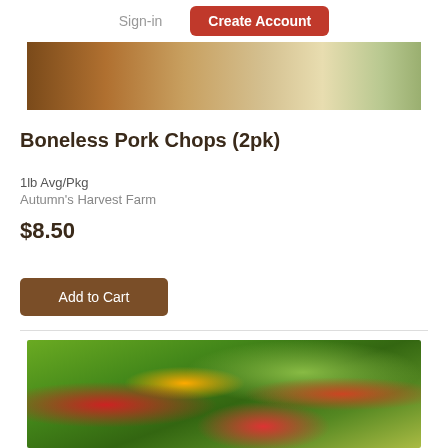Sign-in  Create Account
[Figure (photo): Partial top-cropped photo of cooked pork chop on a plate with green garnish]
Boneless Pork Chops (2pk)
1lb Avg/Pkg
Autumn's Harvest Farm
$8.50
Add to Cart
[Figure (photo): Photo of a fresh green salad with tomatoes, peppers, and leafy greens]